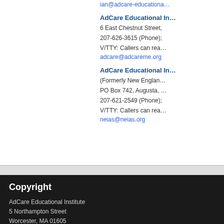ian@adcare-educationa…
AdCare Educational In…
6 East Chestnut Street,
207-626-3615 (Phone);
V/TTY: Callers can rea…
adcare@adcareme.org
AdCare Educational In…
(Formerly New Englan…
PO Box 742, Augusta, …
207-621-2549 (Phone);
V/TTY: Callers can rea…
neias@neias.org
Copyright
AdCare Educational Institute
5 Northampton Street
Worcester, MA 01605
Tel: 508-752-7313, TTY: 508-754-0039, Fax: 508-752-